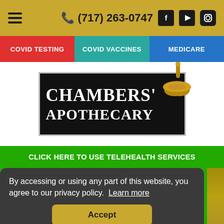(717) 263-0747
COVID TESTING | COVID VACCINES | MEDICARE
[Figure (logo): Chambers' Apothecary logo with mortar and pestle on black background]
CLICK HERE TO USE TELEHEALTH SERVICES
By accessing or using any part of this website, you agree to our privacy policy. Learn more
Accept